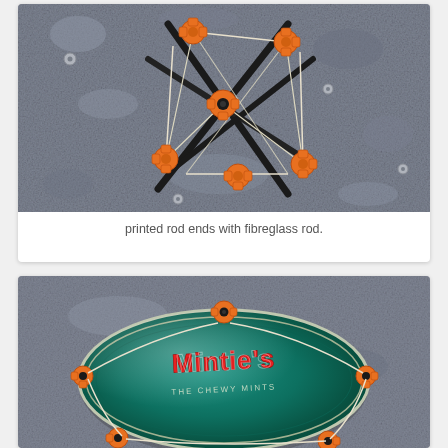[Figure (photo): A tensegrity structure or geometric construction made with orange 3D-printed rod end connectors and black fibreglass rods, held together with white elastic/string, photographed on a grey textured surface.]
printed rod ends with fibreglass rod.
[Figure (photo): Orange 3D-printed rod end connectors holding a round green tin (Mintie's candy tin) on a grey textured surface, demonstrating the connectors gripping a cylindrical object.]